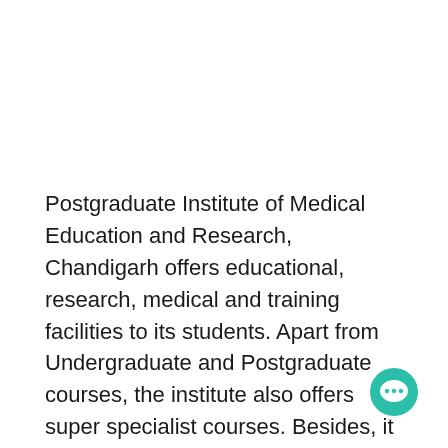Postgraduate Institute of Medical Education and Research, Chandigarh offers educational, research, medical and training facilities to its students. Apart from Undergraduate and Postgraduate courses, the institute also offers super specialist courses. Besides, it provides quality medical care to a large number of patients on a daily basis.
[Figure (illustration): Teal/green circular chat bubble icon with three dots, positioned in bottom-right corner]